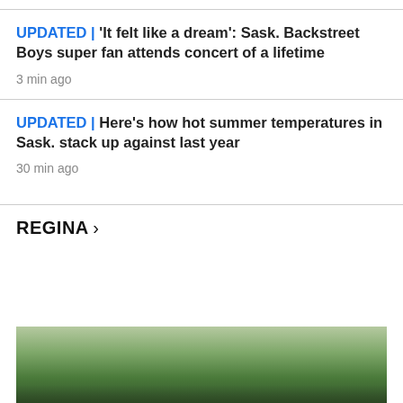UPDATED | 'It felt like a dream': Sask. Backstreet Boys super fan attends concert of a lifetime
3 min ago
UPDATED | Here's how hot summer temperatures in Sask. stack up against last year
30 min ago
REGINA >
[Figure (photo): Outdoor photo showing green tree canopy with blurred foliage against a light sky, cropped at the bottom of the page]